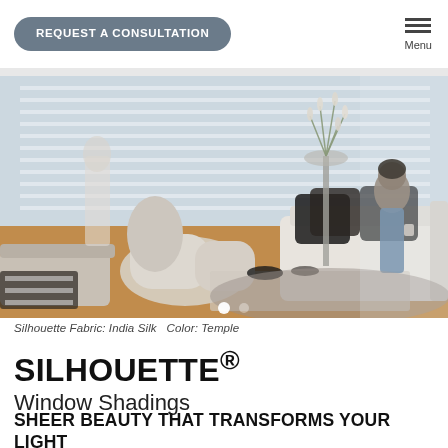REQUEST A CONSULTATION  Menu
[Figure (photo): Modern living room with floor-to-ceiling Silhouette window shadings, plush white sofa with dark pillows, a woman standing by the window, and a glass coffee table on a shaggy rug. Natural light filters through the sheer shading panels.]
Silhouette Fabric: India Silk   Color: Temple
SILHOUETTE®
Window Shadings
SHEER BEAUTY THAT TRANSFORMS YOUR LIGHT